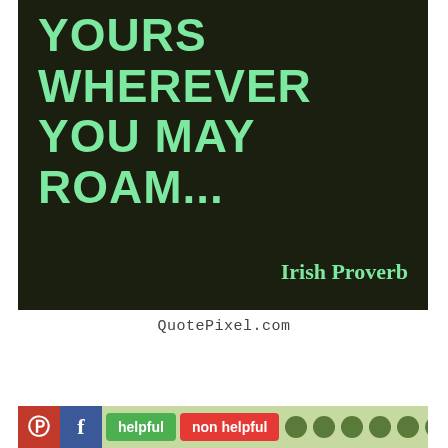[Figure (illustration): Dark olive/green background quote image with light green text reading 'YOURS WHEREVER YOU MAY ROAM...' and attribution 'Irish Proverb' in the bottom right]
QuotePixel.com
[Figure (screenshot): Bottom toolbar with Pinterest and Facebook icons, 'helpful' green button, 'non helpful' red button, and decorative green dots on a light green background]